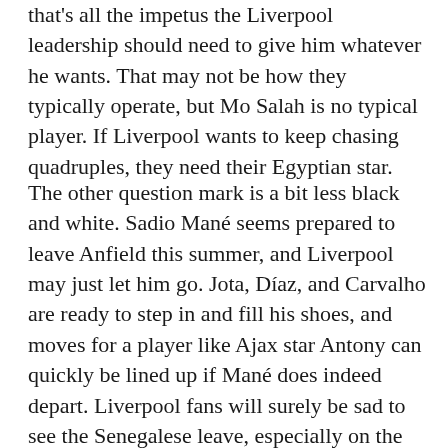that's all the impetus the Liverpool leadership should need to give him whatever he wants. That may not be how they typically operate, but Mo Salah is no typical player. If Liverpool wants to keep chasing quadruples, they need their Egyptian star.
The other question mark is a bit less black and white. Sadio Mané seems prepared to leave Anfield this summer, and Liverpool may just let him go. Jota, Díaz, and Carvalho are ready to step in and fill his shoes, and moves for a player like Ajax star Antony can quickly be lined up if Mané does indeed depart. Liverpool fans will surely be sad to see the Senegalese leave, especially on the back of a fantastic season, but the club will not miss a beat without him. Truthfully, Liverpool have little to do this offseason besides rest and get healthy. Yes, adding young stud Aurélien Tchouaméni would be a bonus for the squad, but the summer is